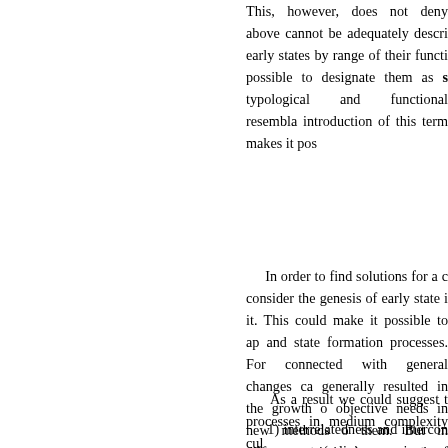This, however, does not deny above cannot be adequately descri early states by range of their functi possible to designate them as s typological and functional resembla introduction of this term makes it pos
In order to find solutions for a c consider the genesis of early state i it. This could make it possible to ap and state formation processes. For connected with general changes ca generally resulted in the growth o objective needs in new methods o them. But in different societies it wa growth of sociostructural complexi property inequality and private own could serve as alternatives to pu problems. And in these terms, the e and intersociety relations.
As a result we could suggest t processes in medium complexity cul
1) interrelatedness and intercom other aspects (religious, sociostruc